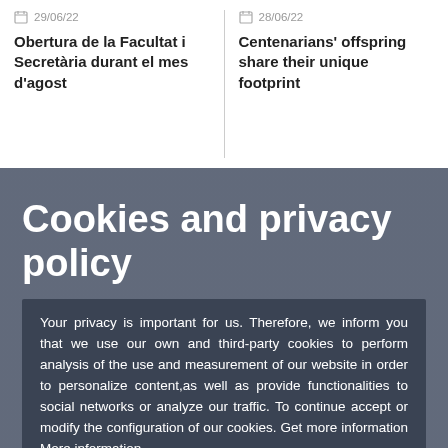29/06/22
28/06/22
Obertura de la Facultat i Secretària durant el mes d'agost
Centenarians' offspring share their unique footprint
Cookies and privacy policy
Your privacy is important for us. Therefore, we inform you that we use our own and third-party cookies to perform analysis of the use and measurement of our website in order to personalize content,as well as provide functionalities to social networks or analyze our traffic. To continue accept or modify the configuration of our cookies. Get more information More information
22/06/22
20/06/22
C... "...m... d...
Accept
Customise Cookies